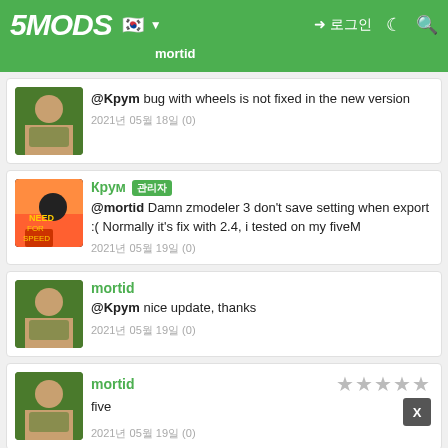5MODS | mortid
@Kpym bug with wheels is not fixed in the new version
2021년 05월 18일 (0)
Крум 관리자
@mortid Damn zmodeler 3 don't save setting when export :( Normally it's fix with 2.4, i tested on my fiveM
2021년 05월 19일 (0)
mortid
@Kpym nice update, thanks
2021년 05월 19일 (0)
mortid
five
2021년 05월 19일 (0)